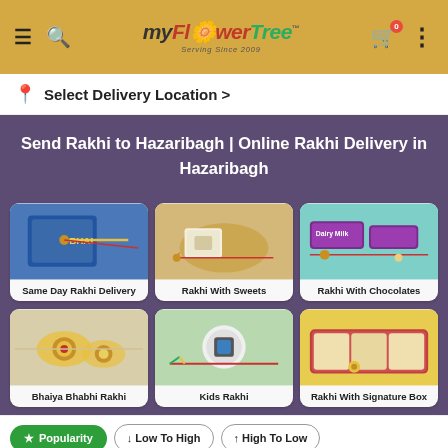MyFlowerTree — Serving Since 2009 | Navigation header with hamburger menu, search, cart (0), and more options
📍 Select Delivery Location >
Send Rakhi to Hazaribagh | Online Rakhi Delivery in Hazaribagh
[Figure (photo): Same Day Rakhi Delivery - rakhi on blue gift box]
[Figure (photo): Rakhi With Sweets - rakhi with kaju katli sweets]
[Figure (photo): Rakhi With Chocolates - rakhi with Dairy Milk chocolate on teal background]
[Figure (photo): Bhaiya Bhabhi Rakhi - two rakhis with gold beads]
[Figure (photo): Kids Rakhi - cartoon character rakhi]
[Figure (photo): Rakhi With Signature Box - rakhi with dry fruits signature box]
★ Popularity | ↓ Low To High | ↑ High To Low